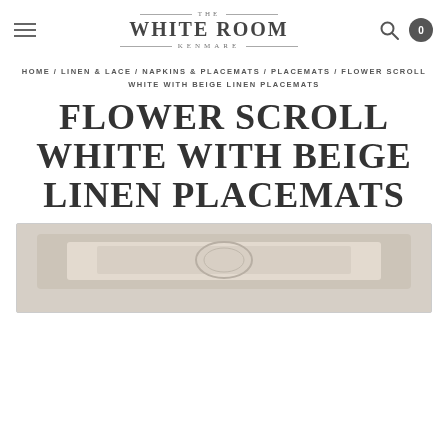The White Room Kenmare — navigation header with logo, hamburger menu, search and cart icons
HOME / LINEN & LACE / NAPKINS & PLACEMATS / PLACEMATS / FLOWER SCROLL WHITE WITH BEIGE LINEN PLACEMATS
FLOWER SCROLL WHITE WITH BEIGE LINEN PLACEMATS
[Figure (photo): Product photo showing flower scroll white with beige linen placemats, partially visible at bottom of page]